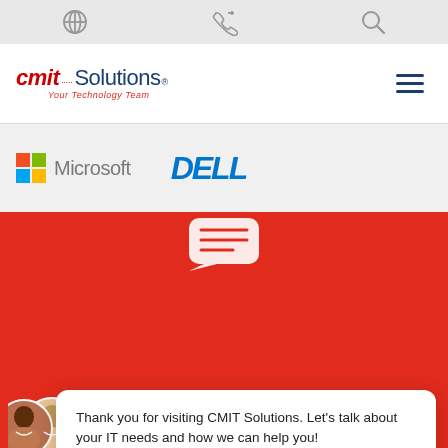Navigation icons: globe, phone, search
[Figure (logo): CMIT Solutions logo with tagline 'Your Technology Team' and hamburger menu icon]
[Figure (logo): Microsoft and Dell partner logos on grey background strip]
[Figure (screenshot): CMIT Solutions website hero section with red background, chat popup showing 'Thank you for visiting CMIT Solutions. Let’s talk about your IT needs and how we can help you!', agent avatars with online badge, hero text 'Let’s talk about your IT needs and we can help', GET A QUOTE label, Reply button, and close X button]